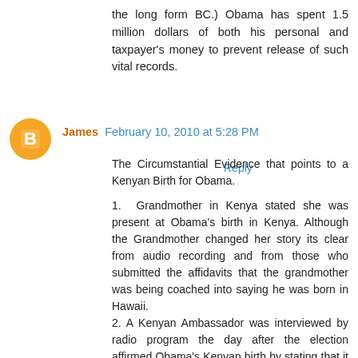the long form BC.) Obama has spent 1.5 million dollars of both his personal and taxpayer's money to prevent release of such vital records.
Reply
James  February 10, 2010 at 5:28 PM
The Circumstantial Evidence that points to a Kenyan Birth for Obama.

1.  Grandmother in Kenya stated she was present at Obama's birth in Kenya. Although the Grandmother changed her story its clear from audio recording and from those who submitted the affidavits that the grandmother was being coached into saying he was born in Hawaii.
2. A Kenyan Ambassador was interviewed by radio program the day after the election affirmed Obama's Kenyan birth by stating that it is a well-known place in Kenya. The Kenyan Ambassador changed his story when he "got caught" saying he was confused but the ambassador didn't sound confused on the radio program.